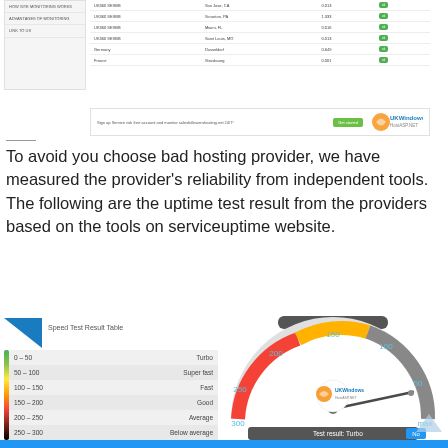[Figure (screenshot): Screenshot of UKWindowsHostASP.NET monitoring page showing uptime table with locations (San Jose CA, Scranton PA, Miami FL, Saint Louis MO, Dusseldorf, Strasbourg), response times, and status indicators. Green 'Get started' button and UKWindows logo at bottom of screenshot.]
To avoid you choose bad hosting provider, we have measured the provider's reliability from independent tools. The following are the uptime test result from the providers based on the tools on serviceuptime website.
[Figure (table-as-image): Speed Test Result Table showing ranges: 0-50 Turbo, 50-100 Super fast, 100-150 Fast, 150-200 Good, 200-250 Average, 250-300 Below average, with colored bar on left side (green to red to black).]
[Figure (infographic): Speedometer gauge showing Test result: Turbo, with UKWindows HostASP.NET logo in center, needle pointing to fast zone, value displayed as 28 ms, with Start Speed Test button at top.]